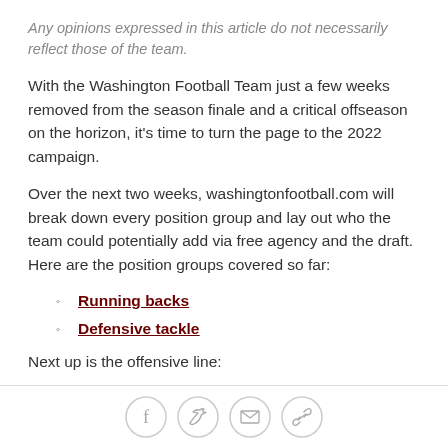Any opinions expressed in this article do not necessarily reflect those of the team.
With the Washington Football Team just a few weeks removed from the season finale and a critical offseason on the horizon, it's time to turn the page to the 2022 campaign.
Over the next two weeks, washingtonfootball.com will break down every position group and lay out who the team could potentially add via free agency and the draft. Here are the position groups covered so far:
Running backs
Defensive tackle
Next up is the offensive line:
Social share icons: Facebook, Twitter, Email, Link